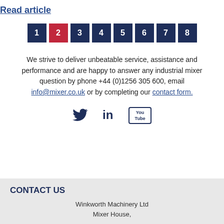Read article
[Figure (other): Pagination buttons numbered 1 through 8, with button 2 highlighted in red and the rest in dark navy blue]
We strive to deliver unbeatable service, assistance and performance and are happy to answer any industrial mixer question by phone +44 (0)1256 305 600, email info@mixer.co.uk or by completing our contact form.
[Figure (other): Social media icons: Twitter bird, LinkedIn 'in', YouTube logo]
CONTACT US
Winkworth Machinery Ltd
Mixer House,